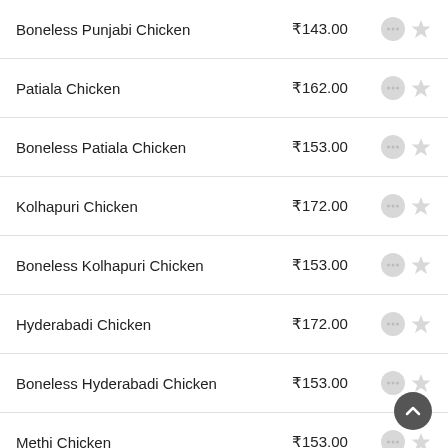Boneless Punjabi Chicken — ₹143.00
Patiala Chicken — ₹162.00
Boneless Patiala Chicken — ₹153.00
Kolhapuri Chicken — ₹172.00
Boneless Kolhapuri Chicken — ₹153.00
Hyderabadi Chicken — ₹172.00
Boneless Hyderabadi Chicken — ₹153.00
Methi Chicken — ₹153.00
Boneless Methi Chicken — ₹172.00
Kadai Chicken (Indian Gravy) — ₹153.00
Boneless Kadai Chicken — ₹172.00